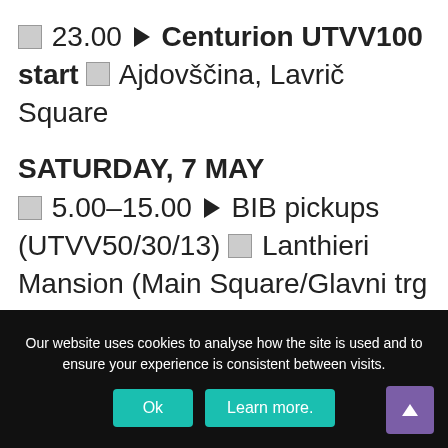☒ 23.00 ▶ Centurion UTVV100 start ☒ Ajdovščina, Lavrič Square
SATURDAY, 7 MAY
☒ 5.00–15.00 ▶ BIB pickups (UTVV50/30/13) ☒ Lanthieri Mansion (Main Square/Glavni trg 8, 5271 Vipava)
Our website uses cookies to analyse how the site is used and to ensure your experience is consistent between visits.